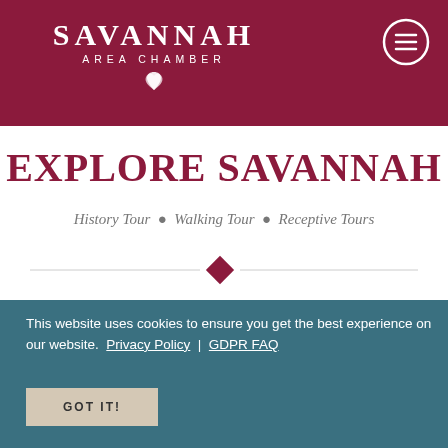SAVANNAH AREA CHAMBER
EXPLORE SAVANNAH
History Tour • Walking Tour • Receptive Tours
This website uses cookies to ensure you get the best experience on our website.   Privacy Policy  |  GDPR FAQ
GOT IT!